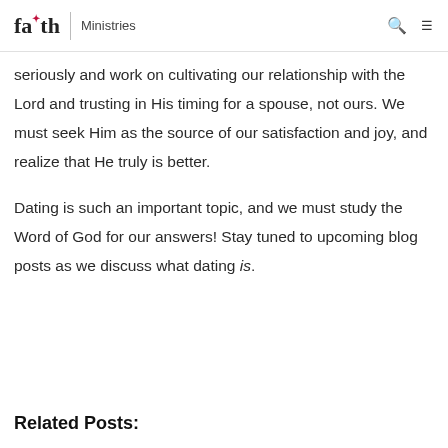faith | Ministries
seriously and work on cultivating our relationship with the Lord and trusting in His timing for a spouse, not ours. We must seek Him as the source of our satisfaction and joy, and realize that He truly is better.
Dating is such an important topic, and we must study the Word of God for our answers! Stay tuned to upcoming blog posts as we discuss what dating is.
Related Posts: